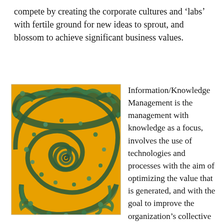compete by creating the corporate cultures and ‘labs’ with fertile ground for new ideas to sprout, and blossom to achieve significant business values.
[Figure (photo): A fractal spiral image with golden/orange background and intricate dark green/teal decorative spiral pattern resembling a Mandelbrot or Julia set fractal.]
Information/Knowledge Management is the management with knowledge as a focus, involves the use of technologies and processes with the aim of optimizing the value that is generated, and with the goal to improve the organization’s collective learning capabilities. To quote Peter Drucker, knowledge is the most valuable commodity. It couldn’t be truer in the